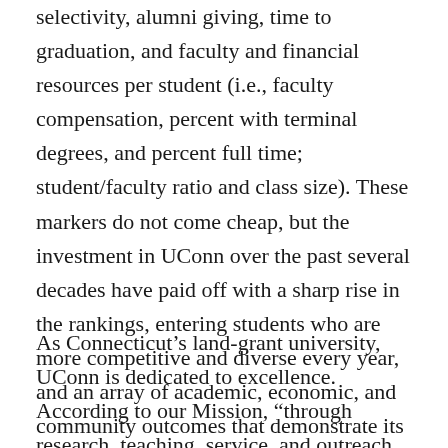selectivity, alumni giving, time to graduation, and faculty and financial resources per student (i.e., faculty compensation, percent with terminal degrees, and percent full time; student/faculty ratio and class size). These markers do not come cheap, but the investment in UConn over the past several decades have paid off with a sharp rise in the rankings, entering students who are more competitive and diverse every year, and an array of academic, economic, and community outcomes that demonstrate its impact.
As Connecticut’s land-grant university, UConn is dedicated to excellence. According to our Mission, “through research, teaching, service, and outreach, we embrace diversity